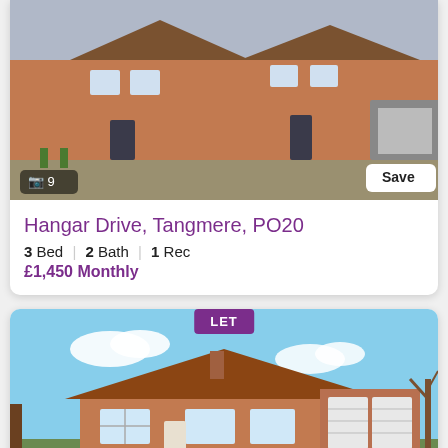[Figure (photo): Exterior photo of a brick terrace/semi-detached new-build houses with grey doors and grey roof tiles, front landscaping with plants and paved driveway]
Hangar Drive, Tangmere, PO20
3 Bed | 2 Bath | 1 Rec
£1,450 Monthly
[Figure (photo): Exterior photo of a detached brick bungalow with brown tiled roof, double garage with white doors, paved driveway, lawn, and clear blue sky. LET badge overlaid at top.]